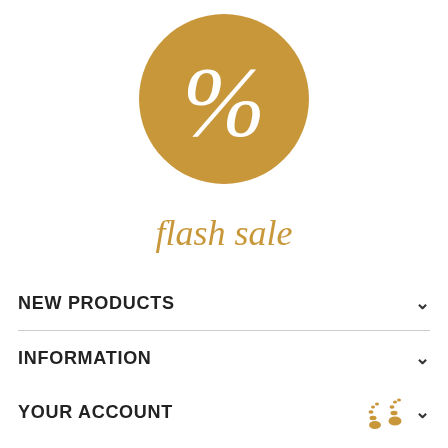[Figure (illustration): Gold/tan circle with a large white percent sign rendered in italic script style]
flash sale
NEW PRODUCTS
INFORMATION
YOUR ACCOUNT
NEWSLETTER